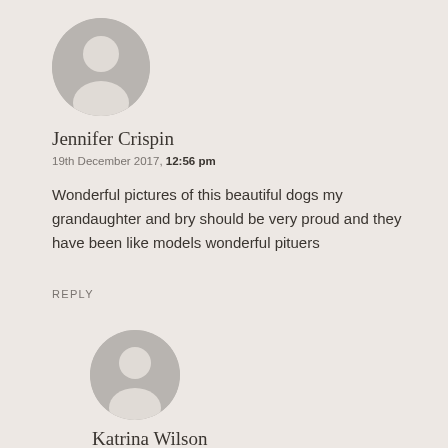[Figure (illustration): Generic user avatar — grey circle with white silhouette of a person]
Jennifer Crispin
19th December 2017, 12:56 pm
Wonderful pictures of this beautiful dogs my grandaughter and bry should be very proud and they have been like models wonderful pituers
REPLY
[Figure (illustration): Generic user avatar — grey circle with white silhouette of a person]
Katrina Wilson
1st January 2018, 9:54 am
Thank you Jennifer, Ad... and Bell... are so di...